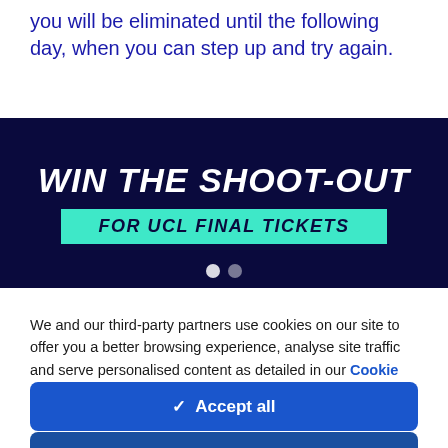you will be eliminated until the following day, when you can step up and try again.
[Figure (infographic): Dark navy banner with bold white italic text 'WIN THE SHOOT-OUT' and a cyan/teal rectangle containing text 'FOR UCL FINAL TICKETS']
We and our third-party partners use cookies on our site to offer you a better browsing experience, analyse site traffic and serve personalised content as detailed in our Cookie Policy.
✓  Accept all
✗  Reject all
Cookie settings >